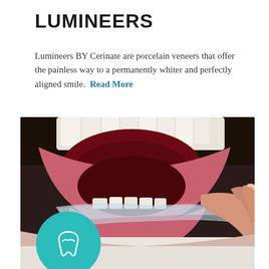LUMINEERS
Lumineers BY Cerinate are porcelain veneers that offer the painless way to a permanently whiter and perfectly aligned smile. Read More
[Figure (photo): Close-up photo of a person's open mouth with white teeth visible, and a hand holding a clear dental aligner/veneer being inserted into the mouth. A teal circle with a tooth icon appears in the bottom-left corner.]